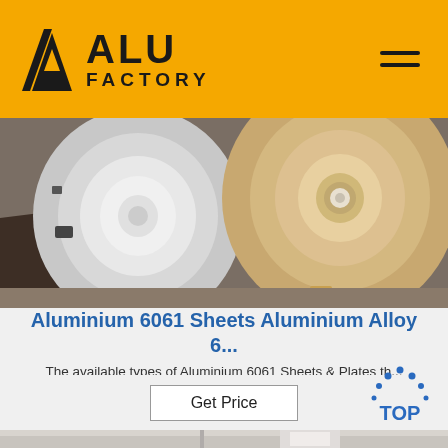ALU FACTORY
[Figure (photo): Large rolls of aluminium sheet/coil material stacked in a warehouse, showing metallic silver and tan-colored rolls]
Aluminium 6061 Sheets Aluminium Alloy 6...
The available types of Aluminium 6061 Sheets & Plates th...
Get Price
[Figure (photo): Partial view of industrial machinery or equipment in a factory setting]